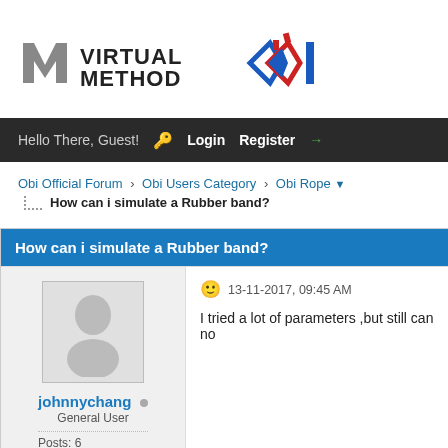[Figure (logo): Virtual Method logo with stylized M icon and VIRTUAL METHOD text, plus a blue/red diamond shape logo on the right]
Hello There, Guest! Login Register →
Obi Official Forum › Obi Users Category › Obi Rope ▼
How can i simulate a Rubber band?
How can i simulate a Rubber band?
[Figure (photo): Default user avatar silhouette in gray box]
johnnychang
General User
Posts: 6
13-11-2017, 09:45 AM
I tried a lot of parameters ,but still can no